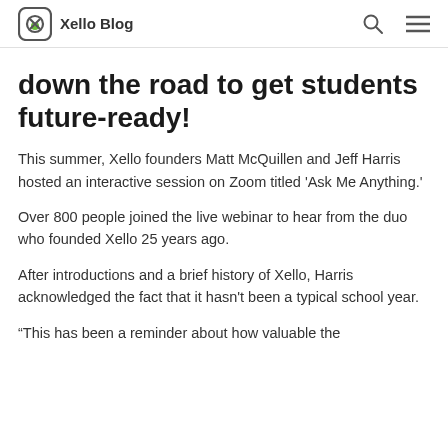Xello Blog
down the road to get students future-ready!
This summer, Xello founders Matt McQuillen and Jeff Harris hosted an interactive session on Zoom titled 'Ask Me Anything.'
Over 800 people joined the live webinar to hear from the duo who founded Xello 25 years ago.
After introductions and a brief history of Xello, Harris acknowledged the fact that it hasn't been a typical school year.
“This has been a reminder about how valuable the